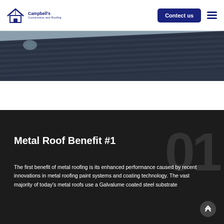Campbell's Construction and Roofing — Contact us
[Figure (photo): Close-up photo of a metal roof with dark blue/grey corrugated metal panels]
Metal Roof Benefit #1
The first benefit of metal roofing is its enhanced performance caused by recent innovations in metal roofing paint systems and coating technology. The vast majority of today's metal roofs use a Galvalume coated steel substrate